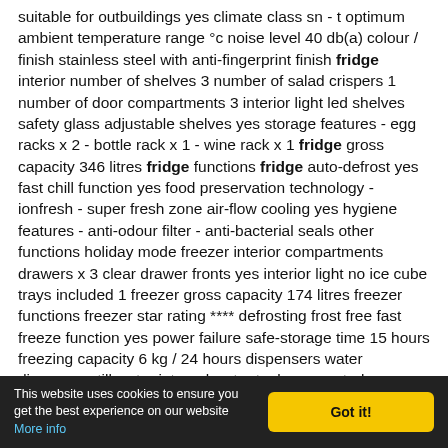suitable for outbuildings yes climate class sn - t optimum ambient temperature range °c noise level 40 db(a) colour / finish stainless steel with anti-fingerprint finish fridge interior number of shelves 3 number of salad crispers 1 number of door compartments 3 interior light led shelves safety glass adjustable shelves yes storage features - egg racks x 2 - bottle rack x 1 - wine rack x 1 fridge gross capacity 346 litres fridge functions fridge auto-defrost yes fast chill function yes food preservation technology - ionfresh - super fresh zone air-flow cooling yes hygiene features - anti-odour filter - anti-bacterial seals other functions holiday mode freezer interior compartments drawers x 3 clear drawer fronts yes interior light no ice cube trays included 1 freezer gross capacity 174 litres freezer functions freezer star rating **** defrosting frost free fast freeze function yes power failure safe-storage time 15 hours freezing capacity 6 kg / 24 hours dispensers water dispenser still water internal water tank yes controls
This website uses cookies to ensure you get the best experience on our website More info